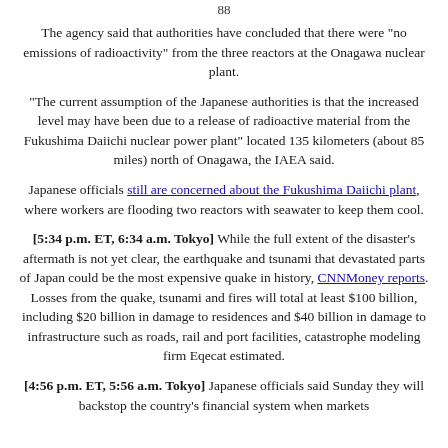88
The agency said that authorities have concluded that there were "no emissions of radioactivity" from the three reactors at the Onagawa nuclear plant.
"The current assumption of the Japanese authorities is that the increased level may have been due to a release of radioactive material from the Fukushima Daiichi nuclear power plant" located 135 kilometers (about 85 miles) north of Onagawa, the IAEA said.
Japanese officials still are concerned about the Fukushima Daiichi plant, where workers are flooding two reactors with seawater to keep them cool.
[5:34 p.m. ET, 6:34 a.m. Tokyo] While the full extent of the disaster's aftermath is not yet clear, the earthquake and tsunami that devastated parts of Japan could be the most expensive quake in history, CNNMoney reports. Losses from the quake, tsunami and fires will total at least $100 billion, including $20 billion in damage to residences and $40 billion in damage to infrastructure such as roads, rail and port facilities, catastrophe modeling firm Eqecat estimated.
[4:56 p.m. ET, 5:56 a.m. Tokyo] Japanese officials said Sunday they will backstop the country's financial system when markets open on Friday in Japan, the agency said to reassure investors.